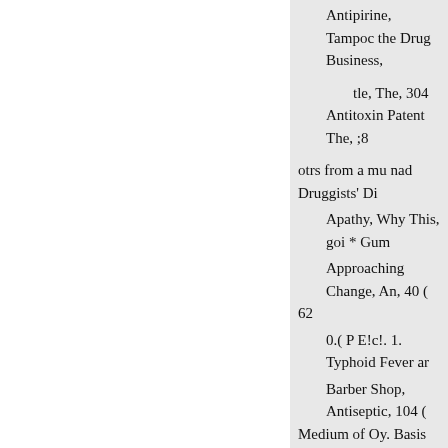Antipirine,
Tampoc the Drug Business,
tle, The, 304
Antitoxin Patent The, ;8
otrs from a mu nad Druggists' Di
Apathy, Why This, goi * Gum
Approaching Change, An, 40 62
0.( P E!c!. 1. Typhoid Fever ar
Barber Shop, Antiseptic, 104 Medium of Oy. Basis and Vehicl
0. C P (rinn 1: 776 Borax and
Organizates, 0 nice, a new Alk
British Pharmaceuucai Con: ence, The, 65
Our Apri: Bislim, sumtion, Th
Parae', bases II. De benise l'iev